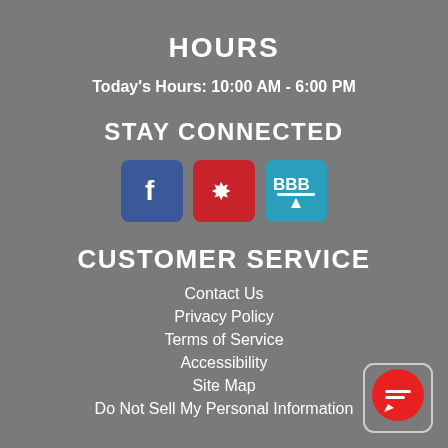HOURS
Today's Hours: 10:00 AM - 6:00 PM
STAY CONNECTED
[Figure (logo): Three social media icons: Facebook (blue), Yelp (red), and BBB (teal)]
CUSTOMER SERVICE
Contact Us
Privacy Policy
Terms of Service
Accessibility
Site Map
Do Not Sell My Personal Information
[Figure (illustration): Red circular chat/message bubble icon in bottom-right corner]